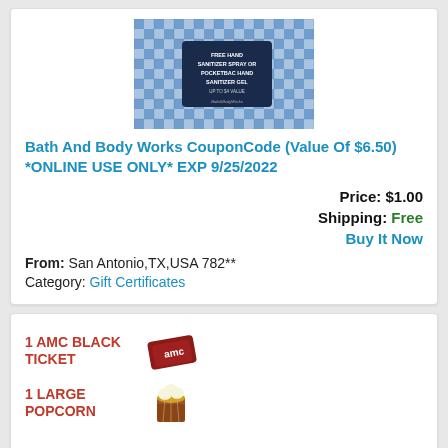[Figure (photo): Bath and Body Works coupon card with blue gingham/checkered pattern background and dark center label reading 'FREE HAND SANITIZER SPRAY OR POCKETBAC HAND SANITIZER GEL UP TO $4 VALUE']
Bath And Body Works CouponCode (Value Of $6.50) *ONLINE USE ONLY* EXP 9/25/2022
Price: $1.00
Shipping: Free
Buy It Now
From: San Antonio,TX,USA 782**
Category: Gift Certificates
[Figure (photo): AMC movie bundle listing showing 1 AMC Black Ticket with AMC ticket graphic, 1 Large Popcorn with popcorn bucket graphic, and a third item partially visible]